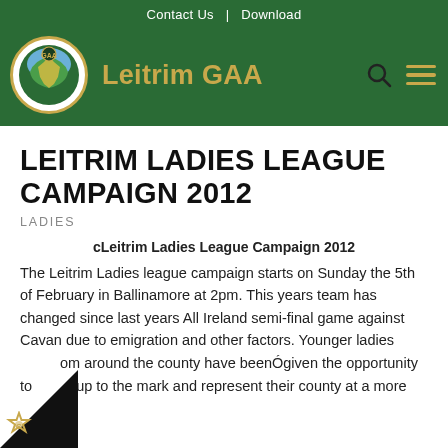Contact Us | Download
[Figure (logo): Leitrim GAA crest logo — circular badge with county map in gold, blue and green, with GAA emblem]
Leitrim GAA
LEITRIM LADIES LEAGUE CAMPAIGN 2012
LADIES
cLeitrim Ladies League Campaign 2012
The Leitrim Ladies league campaign starts on Sunday the 5th of February in Ballinamore at 2pm. This years team has changed since last years All Ireland semi-final game against Cavan due to emigration and other factors. Younger ladies from around the county have beenÓgiven the opportunity to step up to the mark and represent their county at a more